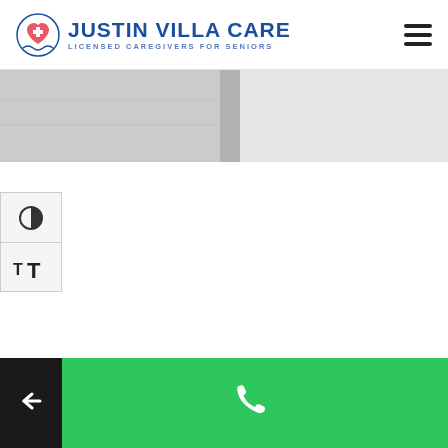[Figure (logo): Justin Villa Care logo with circular icon showing a heart with medical cross and wave, blue text reading JUSTIN VILLA CARE with subtitle LICENSED CAREGIVERS FOR SENIORS]
[Figure (other): Hamburger menu icon (three horizontal lines) in top right corner]
[Figure (photo): Partial hero banner image showing light grey and white tones, appears to be a close-up photo]
[Figure (other): Accessibility controls panel on left side: contrast toggle button (half-circle icon) and text resize button (TT icon)]
[Figure (other): Footer bar: dark black left section with left arrow, green right section with white phone handset icon]